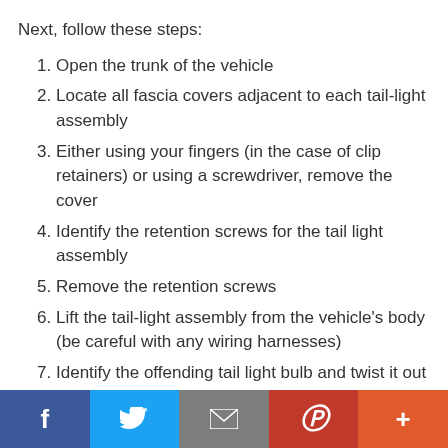Next, follow these steps:
Open the trunk of the vehicle
Locate all fascia covers adjacent to each tail-light assembly
Either using your fingers (in the case of clip retainers) or using a screwdriver, remove the cover
Identify the retention screws for the tail light assembly
Remove the retention screws
Lift the tail-light assembly from the vehicle's body (be careful with any wiring harnesses)
Identify the offending tail light bulb and twist it out of the locking retainer
Replace the bulb by inserting the unit then
Social share bar: Facebook, Twitter, Email, Pinterest, More